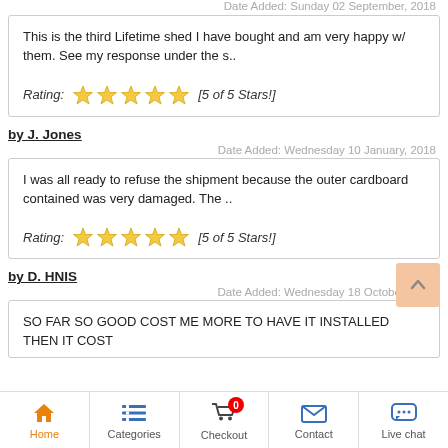Date Added: Sunday 02 September, 2018
This is the third Lifetime shed I have bought and am very happy w/ them. See my response under the s..
Rating: [5 of 5 Stars!]
by J. Jones
Date Added: Wednesday 10 January, 2018
I was all ready to refuse the shipment because the outer cardboard contained was very damaged. The ..
Rating: [5 of 5 Stars!]
by D. HNIS
Date Added: Wednesday 18 October, 2017
SO FAR SO GOOD COST ME MORE TO HAVE IT INSTALLED THEN IT COST
Home   Categories   Checkout   Contact   Live chat